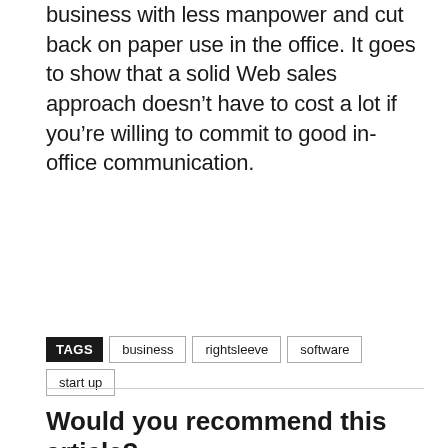business with less manpower and cut back on paper use in the office. It goes to show that a solid Web sales approach doesn't have to cost a lot if you're willing to commit to good in-office communication.
TAGS  business  rightsleeve  software  start up
Would you recommend this article?